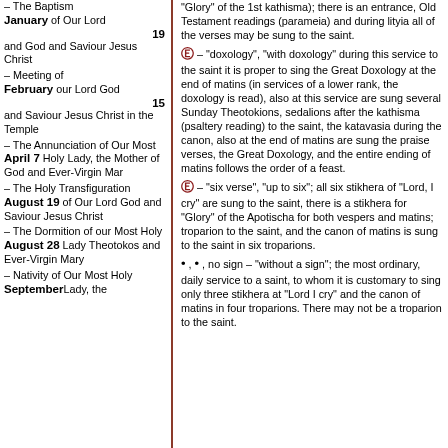January 19 – The Baptism of Our Lord and God and Saviour Jesus Christ
February 15 – Meeting of our Lord God and Saviour Jesus Christ in the Temple
April 7 – The Annunciation of Our Most Holy Lady, the Mother of God and Ever-Virgin Mar
August 19 – The Holy Transfiguration of Our Lord God and Saviour Jesus Christ
August 28 – The Dormition of our Most Holy Lady Theotokos and Ever-Virgin Mary
September – Nativity of Our Most Holy Lady, the
"Glory" of the 1st kathisma); there is an entrance, Old Testament readings (parameia) and during lityia all of the verses may be sung to the saint.
Ε – "doxology", "with doxology" during this service to the saint it is proper to sing the Great Doxology at the end of matins (in services of a lower rank, the doxology is read), also at this service are sung several Sunday Theotokions, sedalions after the kathisma (psaltery reading) to the saint, the katavasia during the canon, also at the end of matins are sung the praise verses, the Great Doxology, and the entire ending of matins follows the order of a feast.
Ε – "six verse", "up to six"; all six stikhera of "Lord, I cry" are sung to the saint, there is a stikhera for "Glory" of the Apotischa for both vespers and matins; troparion to the saint, and the canon of matins is sung to the saint in six troparions.
• , • , no sign – "without a sign"; the most ordinary, daily service to a saint, to whom it is customary to sing only three stikhera at "Lord I cry" and the canon of matins in four troparions. There may not be a troparion to the saint.